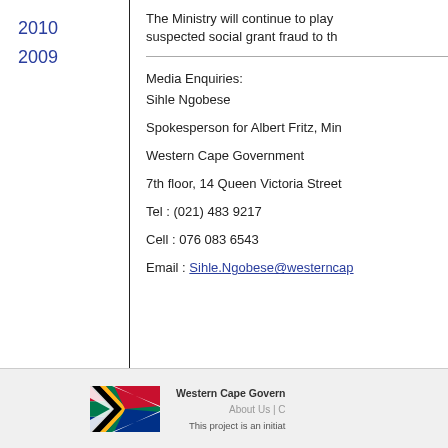2010
2009
The Ministry will continue to play suspected social grant fraud to th
Media Enquiries:
Sihle Ngobese

Spokesperson for Albert Fritz, Min

Western Cape Government

7th floor, 14 Queen Victoria Street

Tel : (021) 483 9217

Cell :  076 083 6543

Email : Sihle.Ngobese@westerncap
[Figure (illustration): South African national flag - rectangular flag with horizontal black, gold, green chevron and red, white, blue bands]
Western Cape Govern
About Us | C
This project is an initiat